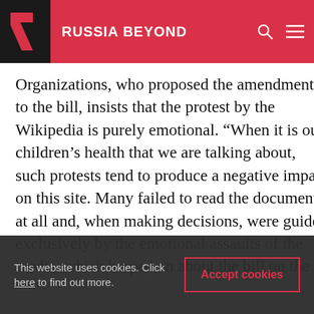RUSSIA BEYOND
Organizations, who proposed the amendments to the bill, insists that the protest by the Wikipedia is purely emotional. “When it is our children’s health that we are talking about, such protests tend to produce a negative impact on this site. Many failed to read the document at all and, when making decisions, were guided exclusively by the emotional assaults of the media, which harped on about the bill on the Internet,” Nilov said. Nilov is particularly hopeful that the bill will prevent suicides among children. “We must look at the statistics one year after the bill has been passed
This website uses cookies. Click here to find out more.